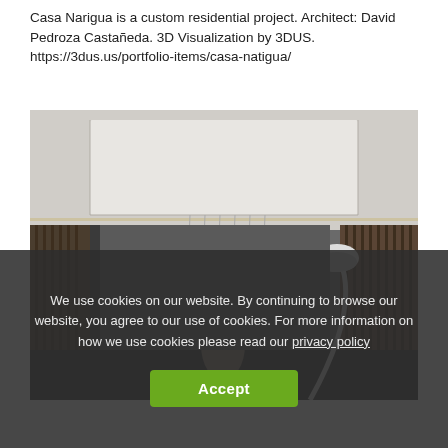Casa Narigua is a custom residential project. Architect: David Pedroza Castañeda. 3D Visualization by 3DUS. https://3dus.us/portfolio-items/casa-natigua/
[Figure (photo): 3D visualization of a modern interior living room with a high white ceiling, pendant lights hanging from the ceiling, a sculptural figure in the center, a large arc floor lamp on the right, dark wood slat walls, and moody ambient lighting.]
We use cookies on our website. By continuing to browse our website, you agree to our use of cookies. For more information on how we use cookies please read our privacy policy